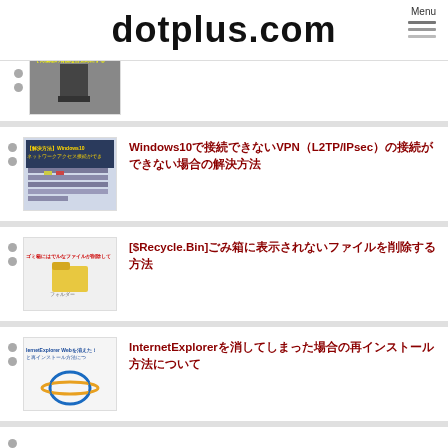dotplus.com
Windows10でアクセス接続でVPN（L2TP/IPsec）の接続ができない場合の解決方法
[$Recycle.Bin]ごみ箱に表示されないファイルを削除する方法
InternetExplorerを消してしまった場合の再インストール方法について